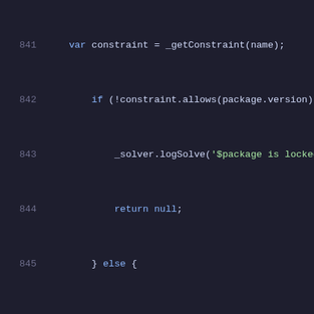code listing lines 841-862
841     var constraint = _getConstraint(name);
842         if (!constraint.allows(package.version)) {
843             _solver.logSolve('$package is locked but c
844             return null;
845         } else {
846             _solver.logSolve('$package is locked');
847         }
848
849         var required = _getRequired(name);
850         if (required != null) {
851             if (package.source != required.dep.source
852
853             var source = _solver.sources[package.sour
854             if (!source.descriptionsEqual(
855                 package.description, required.dep.des
856         }
857
858         return package;
859     }
860
861     /// Run the dart2js compiler.
862     Future  doCompilation(Transform transform) {